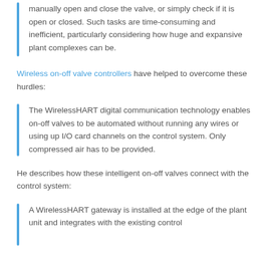manually open and close the valve, or simply check if it is open or closed. Such tasks are time-consuming and inefficient, particularly considering how huge and expansive plant complexes can be.
Wireless on-off valve controllers have helped to overcome these hurdles:
The WirelessHART digital communication technology enables on-off valves to be automated without running any wires or using up I/O card channels on the control system. Only compressed air has to be provided.
He describes how these intelligent on-off valves connect with the control system:
A WirelessHART gateway is installed at the edge of the plant unit and integrates with the existing control